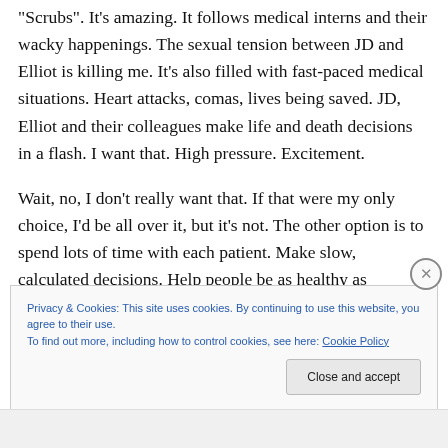“Scrubs”.  It’s amazing.  It follows medical interns and their wacky happenings.  The sexual tension between JD and Elliot is killing me.  It’s also filled with fast-paced medical situations.  Heart attacks, comas, lives being saved.  JD, Elliot and their colleagues make life and death decisions in a flash.  I want that.  High pressure.  Excitement.
Wait, no, I don’t really want that.  If that were my only choice, I’d be all over it, but it’s not.  The other option is to spend lots of time with each patient.  Make slow, calculated decisions.  Help people be as healthy as
Privacy & Cookies: This site uses cookies. By continuing to use this website, you agree to their use.
To find out more, including how to control cookies, see here: Cookie Policy
Close and accept